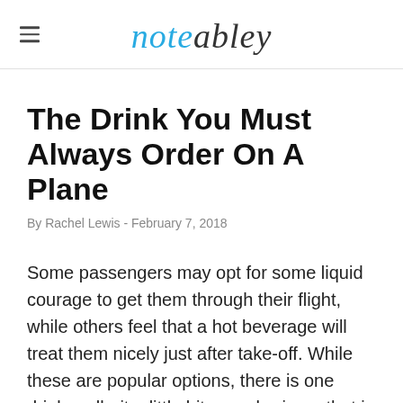noteabley
The Drink You Must Always Order On A Plane
By Rachel Lewis - February 7, 2018
Some passengers may opt for some liquid courage to get them through their flight, while others feel that a hot beverage will treat them nicely just after take-off. While these are popular options, there is one drink – albeit a little bit more boring – that is the best thing to